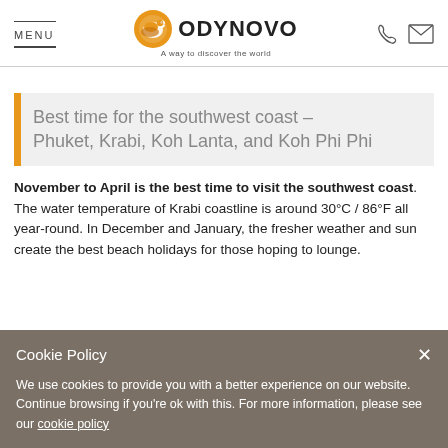MENU | ODYNOVO A way to discover the world
Best time for the southwest coast – Phuket, Krabi, Koh Lanta, and Koh Phi Phi
November to April is the best time to visit the southwest coast. The water temperature of Krabi coastline is around 30°C / 86°F all year-round. In December and January, the fresher weather and sun create the best beach holidays for those hoping to lounge.
Cookie Policy
We use cookies to provide you with a better experience on our website. Continue browsing if you're ok with this. For more information, please see our cookie policy